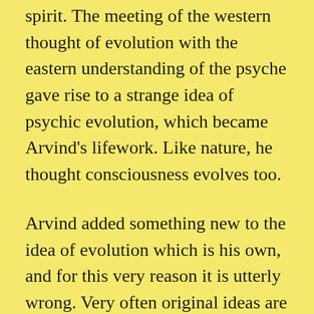spirit. The meeting of the western thought of evolution with the eastern understanding of the psyche gave rise to a strange idea of psychic evolution, which became Arvind's lifework. Like nature, he thought consciousness evolves too.
Arvind added something new to the idea of evolution which is his own, and for this very reason it is utterly wrong. Very often original ideas are wrong, because they happen to be the finding of a single person. It is true that traditional beliefs, in the course of time, degenerate into fossils, but they have a validity of their own because millions of people go out to find them. This new idea which built Arvind's reputation concerns the descent of